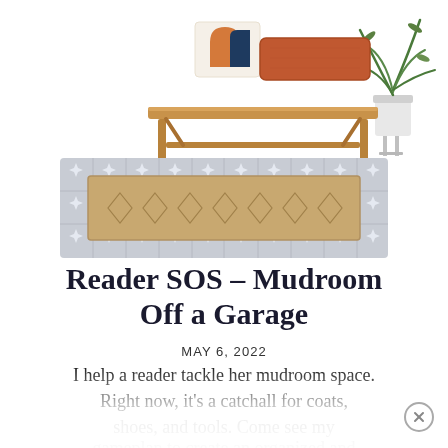[Figure (illustration): Interior design illustration showing a wooden bench with decorative pillows (geometric pattern pillow and orange lumbar pillow), a potted palm plant, and a layered rug setup with gray star-pattern tile border and a tan diamond-pattern center runner rug.]
Reader SOS – Mudroom Off a Garage
MAY 6, 2022
I help a reader tackle her mudroom space. Right now, it's a catchall for coats, shoes, and tools. Come see my gameplan to create an organized and